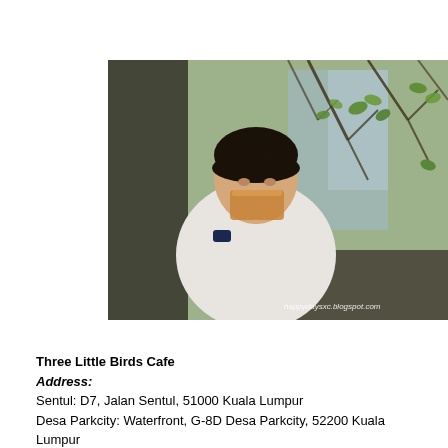[Figure (photo): A woman holding a glass drink up to her mouth, seated outdoors at a cafe with lush green tree branches and foliage in the background. A watermark reads 'happydaysxc.blogspot.com' in the bottom right corner.]
Three Little Birds Cafe
Address:
Sentul: D7, Jalan Sentul, 51000 Kuala Lumpur
Desa Parkcity: Waterfront, G-8D Desa Parkcity, 52200 Kuala Lumpur